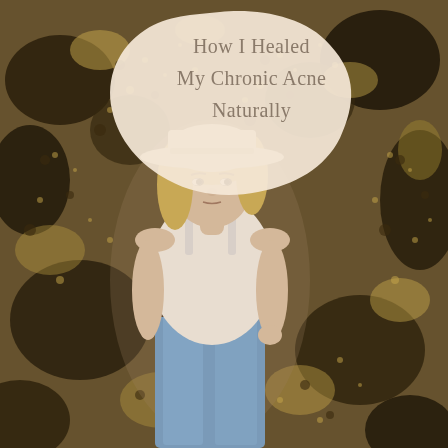[Figure (photo): A young blonde woman wearing a wide-brim beige hat and a cream tank top with light blue jeans, standing in front of a textured dark and golden brown dried foliage wall background, looking at the camera with a neutral expression.]
How I Healed My Chronic Acne Naturally